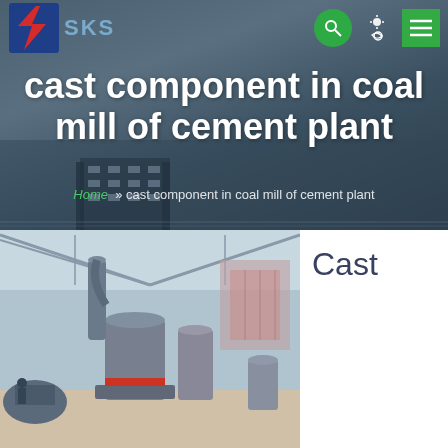[Figure (screenshot): SKS company logo with red and blue stylized S icon and grey SKS text]
SKS
cast component in coal mill of cement plant
Home » cast component in coal mill of cement plant
[Figure (photo): Industrial coal mill machinery inside a large warehouse/factory with metal silos, pipes, and processing equipment]
Cast